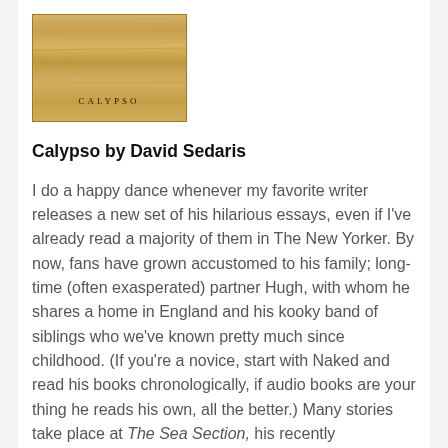[Figure (illustration): Book cover of Calypso by David Sedaris — wood-grain texture background in tan/golden tones with the word CALYPSO in small dark letters near the bottom center]
Calypso by David Sedaris
I do a happy dance whenever my favorite writer releases a new set of his hilarious essays, even if I've already read a majority of them in The New Yorker. By now, fans have grown accustomed to his family; long-time (often exasperated) partner Hugh, with whom he shares a home in England and his kooky band of siblings who we've known pretty much since childhood. (If you're a novice, start with Naked and read his books chronologically, if audio books are your thing he reads his own, all the better.) Many stories take place at The Sea Section, his recently purchased, long-dreamed of sea side home in his native Georgia, to bring his siblings together for special occasions…so long as he can call the shots and stay in the best room. He also returns to his life